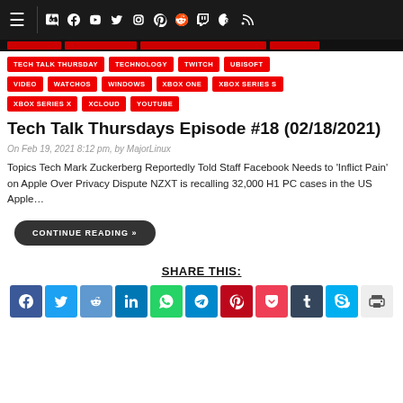≡ [social icons: Discord, Facebook, YouTube, Twitter, Instagram, Pinterest, Reddit, Twitch, Steam, RSS]
TECH TALK THURSDAY
TECHNOLOGY
TWITCH
UBISOFT
VIDEO
WATCHOS
WINDOWS
XBOX ONE
XBOX SERIES S
XBOX SERIES X
XCLOUD
YOUTUBE
Tech Talk Thursdays Episode #18 (02/18/2021)
On Feb 19, 2021 8:12 pm, by MajorLinux
Topics Tech Mark Zuckerberg Reportedly Told Staff Facebook Needs to 'Inflict Pain' on Apple Over Privacy Dispute NZXT is recalling 32,000 H1 PC cases in the US Apple…
CONTINUE READING »
SHARE THIS:
Share buttons: Facebook, Twitter, Reddit, LinkedIn, WhatsApp, Telegram, Pinterest, Pocket, Tumblr, Skype, Print